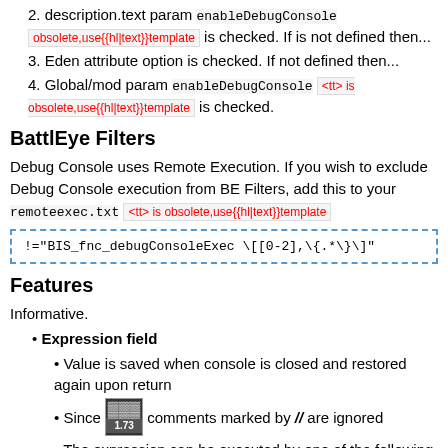2. description.text param 'enableDebugConsole' [obsolete,use{{hl|text}}template] is checked. If is not defined then...
3. Eden attribute option is checked. If not defined then...
4. Global/mod param enableDebugConsole [tt is obsolete,use{{hl|text}}template] is checked.
BattlEye Filters
Debug Console uses Remote Execution. If you wish to exclude Debug Console execution from BE Filters, add this to your remoteexec.txt [tt is obsolete,use{{hl|text}}template]
!="BIS_fnc_debugConsoleExec \[[0-2],\{.*\}\]"
Features
Informative.
Expression field
Value is saved when console is closed and restored again upon return
Since [1.73] comments marked by // are ignored
The expression can be executed by one of the following buttons: